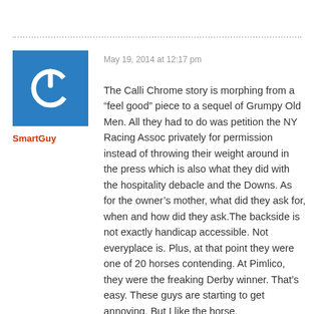[Figure (illustration): Blue square avatar with white power button icon]
SmartGuy
May 19, 2014 at 12:17 pm
The Calli Chrome story is morphing from a “feel good” piece to a sequel of Grumpy Old Men. All they had to do was petition the NY Racing Assoc privately for permission instead of throwing their weight around in the press which is also what they did with the hospitality debacle and the Downs. As for the owner’s mother, what did they ask for, when and how did they ask.The backside is not exactly handicap accessible. Not everyplace is. Plus, at that point they were one of 20 horses contending. At Pimlico, they were the freaking Derby winner. That’s easy. These guys are starting to get annoying. But I like the horse.